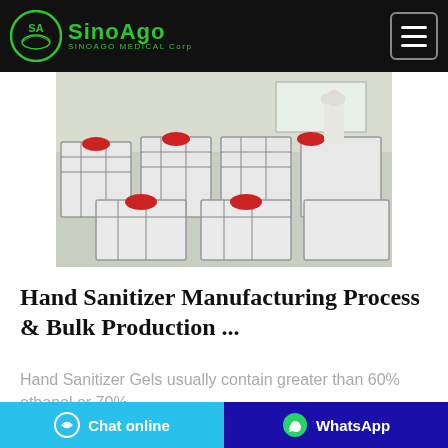SinoAgo MEDICAL Corp
[Figure (photo): Industrial manufacturing facility showing large white IBC tote containers with red caps arranged in rows, with a worker in white protective clothing visible in the background]
Hand Sanitizer Manufacturing Process & Bulk Production ...
Hand Sanitizer Gels usually contain greater than 60% ethanol or 70%
Chat online | WhatsApp